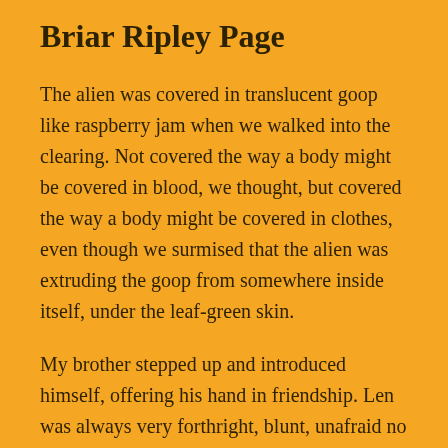Briar Ripley Page
The alien was covered in translucent goop like raspberry jam when we walked into the clearing. Not covered the way a body might be covered in blood, we thought, but covered the way a body might be covered in clothes, even though we surmised that the alien was extruding the goop from somewhere inside itself, under the leaf-green skin.
My brother stepped up and introduced himself, offering his hand in friendship. Len was always very forthright, blunt, unafraid no matter the circumstances.